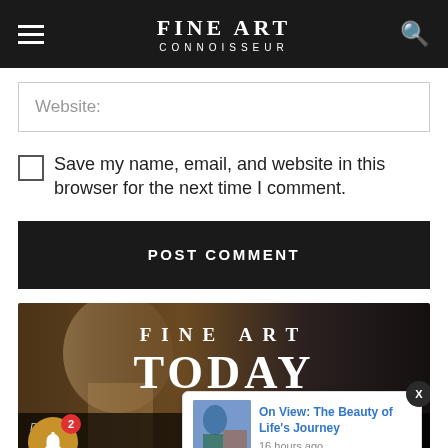FINE ART CONNOISSEUR
Website:
Save my name, email, and website in this browser for the next time I comment.
POST COMMENT
[Figure (screenshot): Fine Art Today magazine banner with classical sculpture and portrait painting, overlaid with text 'FINE ART TODAY' and partial text 'DISCO... ARTI... HAVE TO TEACH YOU WITH YOUR FREE'. A notification popup shows 'On View: The Beauty of Life's Journey' posted 16 hours ago. A notification bell icon with badge '2' is in the lower left.]
On View: The Beauty of Life's Journey
16 hours ago